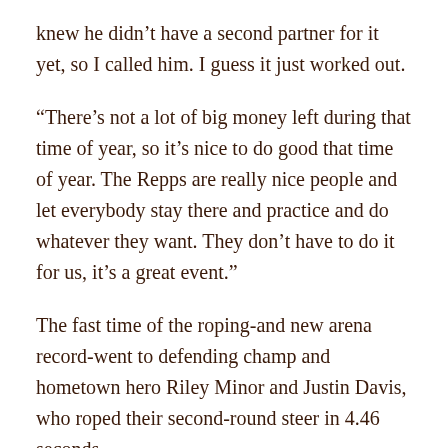knew he didn't have a second partner for it yet, so I called him. I guess it just worked out.
“There’s not a lot of big money left during that time of year, so it’s nice to do good that time of year. The Repps are really nice people and let everybody stay there and practice and do whatever they want. They don’t have to do it for us, it’s a great event.”
The fast time of the roping-and new arena record-went to defending champ and hometown hero Riley Minor and Justin Davis, who roped their second-round steer in 4.46 seconds.